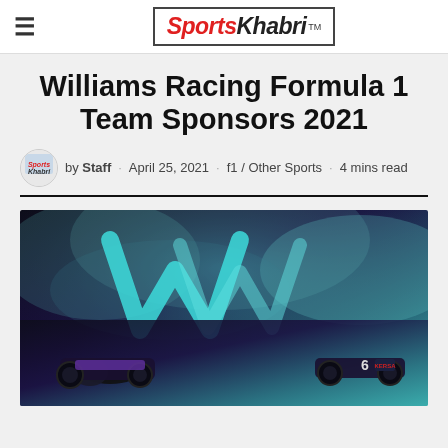Sports Khabri
Williams Racing Formula 1 Team Sponsors 2021
by Staff · April 25, 2021 · f1 / Other Sports · 4 mins read
[Figure (photo): Williams Racing Formula 1 car with large teal W logo against smoky dramatic background, car number 6 visible]